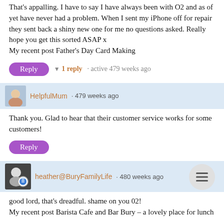That's appalling. I have to say I have always been with O2 and as of yet have never had a problem. When I sent my iPhone off for repair they sent back a shiny new one for me no questions asked. Really hope you get this sorted ASAP x
My recent post Father's Day Card Making
▼ 1 reply · active 479 weeks ago
HelpfulMum · 479 weeks ago
Thank you. Glad to hear that their customer service works for some customers!
heather@BuryFamilyLife · 480 weeks ago
good lord, that's dreadful. shame on you 02!
My recent post Barista Cafe and Bar Bury – a lovely place for lunch
▼ 1 reply · active 479 weeks ago
HelpfulMum · 479 weeks ago
Indeed it is. I think the service has been appalling.